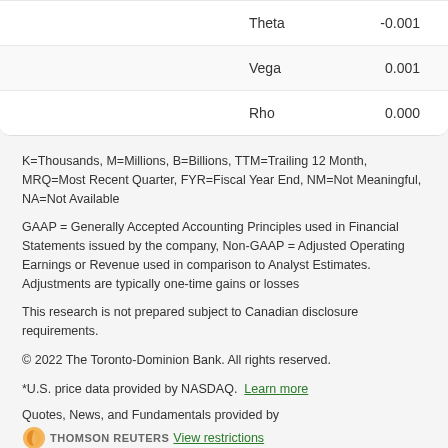|  |  |
| --- | --- |
| Theta | -0.001 |
| Vega | 0.001 |
| Rho | 0.000 |
K=Thousands, M=Millions, B=Billions, TTM=Trailing 12 Month, MRQ=Most Recent Quarter, FYR=Fiscal Year End, NM=Not Meaningful, NA=Not Available
GAAP = Generally Accepted Accounting Principles used in Financial Statements issued by the company, Non-GAAP = Adjusted Operating Earnings or Revenue used in comparison to Analyst Estimates. Adjustments are typically one-time gains or losses
This research is not prepared subject to Canadian disclosure requirements.
© 2022 The Toronto-Dominion Bank. All rights reserved.
*U.S. price data provided by NASDAQ.  Learn more
Quotes, News, and Fundamentals provided by  THOMSON REUTERS  View restrictions